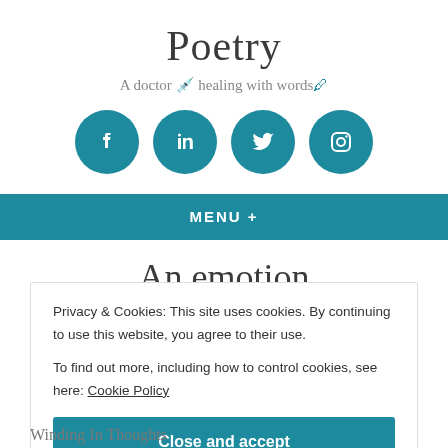Poetry
A doctor 💉 healing with words 🖊
[Figure (other): Four teal circular social media icons: Facebook, LinkedIn, Twitter, Instagram]
MENU +
An emotion
Privacy & Cookies: This site uses cookies. By continuing to use this website, you agree to their use.
To find out more, including how to control cookies, see here: Cookie Policy
Close and accept
Winding In Thoughts